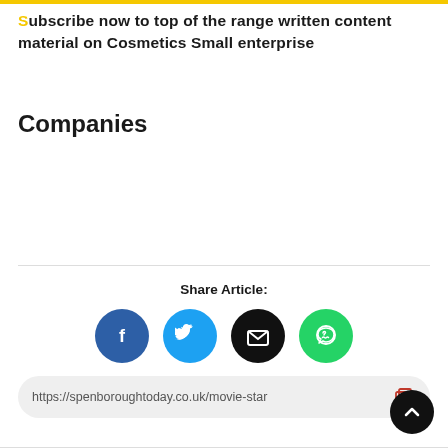Subscribe now to top of the range written content material on Cosmetics Small enterprise
Companies
Share Article:
[Figure (other): Social share icons: Facebook (blue circle with f), Twitter (cyan circle with bird), Email (black circle with envelope), WhatsApp (green circle with phone)]
https://spenboroughtoday.co.uk/movie-star